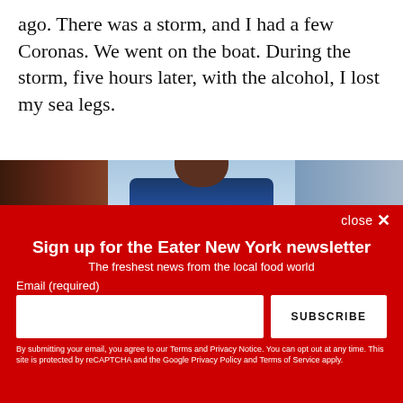ago. There was a storm, and I had a few Coronas. We went on the boat. During the storm, five hours later, with the alcohol, I lost my sea legs.
[Figure (photo): A man wearing sunglasses and a blue patterned shirt standing on what appears to be a rooftop or outdoor deck with a bridge and cityscape visible in the background.]
close ×
Sign up for the Eater New York newsletter
The freshest news from the local food world
Email (required)
By submitting your email, you agree to our Terms and Privacy Notice. You can opt out at any time. This site is protected by reCAPTCHA and the Google Privacy Policy and Terms of Service apply.